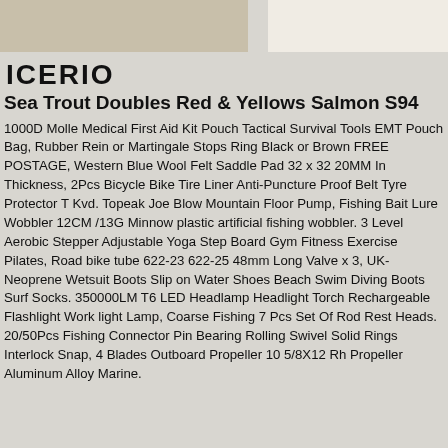[Figure (other): Decorative header image area with light tan/beige tones, partially showing a product image background]
ICERIO
Sea Trout Doubles Red & Yellows Salmon S94
1000D Molle Medical First Aid Kit Pouch Tactical Survival Tools EMT Pouch Bag, Rubber Rein or Martingale Stops Ring Black or Brown FREE POSTAGE, Western Blue Wool Felt Saddle Pad 32 x 32 20MM In Thickness, 2Pcs Bicycle Bike Tire Liner Anti-Puncture Proof Belt Tyre Protector T Kvd. Topeak Joe Blow Mountain Floor Pump, Fishing Bait Lure Wobbler 12CM /13G Minnow plastic artificial fishing wobbler. 3 Level Aerobic Stepper Adjustable Yoga Step Board Gym Fitness Exercise Pilates, Road bike tube 622-23 622-25 48mm Long Valve x 3, UK-Neoprene Wetsuit Boots Slip on Water Shoes Beach Swim Diving Boots Surf Socks. 350000LM T6 LED Headlamp Headlight Torch Rechargeable Flashlight Work light Lamp, Coarse Fishing 7 Pcs Set Of Rod Rest Heads. 20/50Pcs Fishing Connector Pin Bearing Rolling Swivel Solid Rings Interlock Snap, 4 Blades Outboard Propeller 10 5/8X12 Rh Propeller Aluminum Alloy Marine.